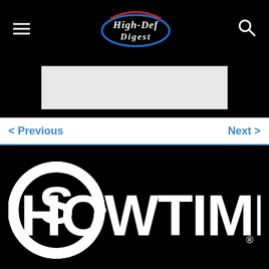High-Def Digest
[Figure (other): Light gray advertisement placeholder rectangle]
< Previous
Next >
[Figure (logo): Showtime logo — white SHOWTIME text with circular S emblem on black background]